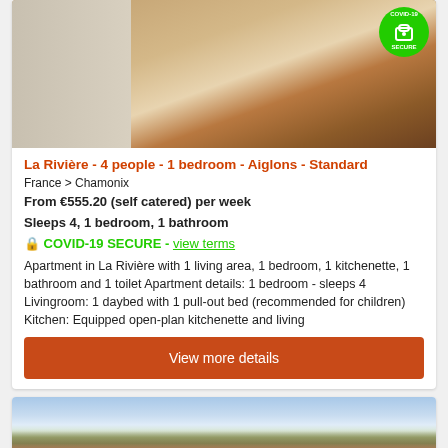[Figure (photo): Interior room photo of La Rivière apartment with wooden floors and furnishings, COVID-19 SECURE badge in top right]
La Rivière - 4 people - 1 bedroom - Aiglons - Standard
France > Chamonix
From €555.20 (self catered) per week
Sleeps 4, 1 bedroom, 1 bathroom
🔒 COVID-19 SECURE - view terms
Apartment in La Rivière with 1 living area, 1 bedroom, 1 kitchenette, 1 bathroom and 1 toilet Apartment details: 1 bedroom - sleeps 4 Livingroom: 1 daybed with 1 pull-out bed (recommended for children) Kitchen: Equipped open-plan kitchenette and living
View more details
[Figure (photo): Mountain landscape photo with snowy peaks and clouds]